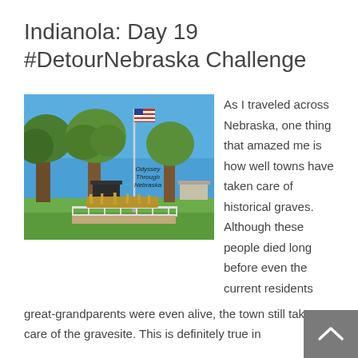Indianola: Day 19 #DetourNebraska Challenge
[Figure (photo): Outdoor photo of a park or memorial area in Indianola, Nebraska. Shows a tall flagpole with an American flag, surrounded by trees and grass, with a historic grave marker or monument enclosed by a white fence in the foreground. Watermark text reads 'Odyssey Through Nebraska'.]
As I traveled across Nebraska, one thing that amazed me is how well towns have taken care of historical graves. Although these people died long before even the current residents great-grandparents were even alive, the town still takes care of the gravesite. This is definitely true in